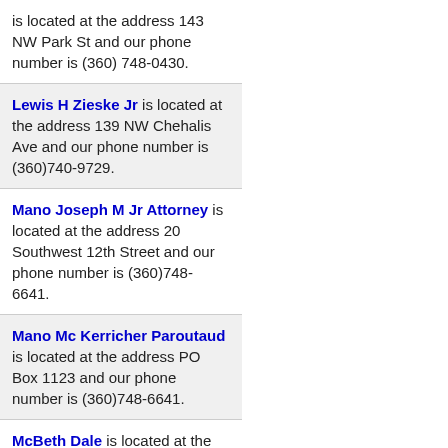is located at the address 143 NW Park St and our phone number is (360) 748-0430.
Lewis H Zieske Jr is located at the address 139 NW Chehalis Ave and our phone number is (360)740-9729.
Mano Joseph M Jr Attorney is located at the address 20 Southwest 12th Street and our phone number is (360)748-6641.
Mano Mc Kerricher Paroutaud is located at the address PO Box 1123 and our phone number is (360)748-6641.
McBeth Dale is located at the address 664 S Market Blvd and our phone number is (360) 748-3326.